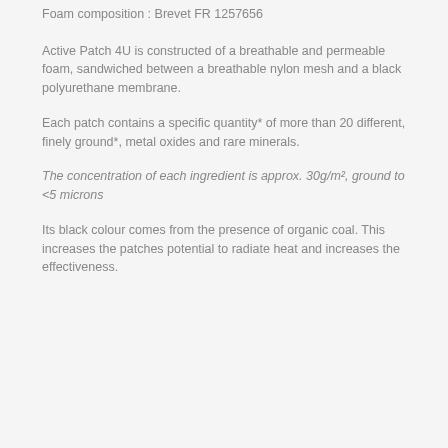Foam composition : Brevet FR 1257656
Active Patch 4U is constructed of a breathable and permeable foam, sandwiched between a breathable nylon mesh and a black polyurethane membrane.
Each patch contains a specific quantity* of more than 20 different, finely ground*, metal oxides and rare minerals.
The concentration of each ingredient is approx. 30g/m², ground to <5 microns
Its black colour comes from the presence of organic coal. This increases the patches potential to radiate heat and increases the effectiveness.